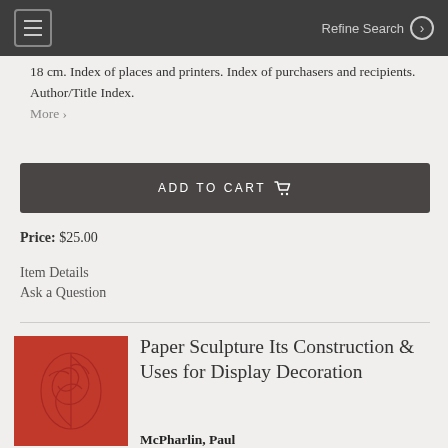☰  Refine Search ›
18 cm. Index of places and printers. Index of purchasers and recipients. Author/Title Index. More ›
ADD TO CART
Price: $25.00
Item Details
Ask a Question
[Figure (photo): Red cloth-bound book cover with embossed decorative design]
Paper Sculpture Its Construction & Uses for Display Decoration
McPharlin, Paul